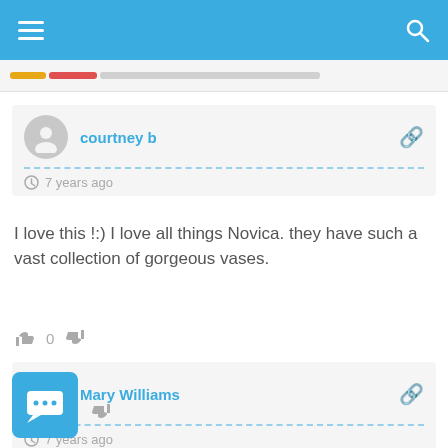[Figure (screenshot): Mobile app top navigation bar with hamburger menu and search icon on blue background]
[Figure (infographic): Progress bars in gold, red, and gray]
courtney b
7 years ago
I love this !:) I love all things Novica. they have such a vast collection of gorgeous vases.
0
Mary Williams
7 years ago
That is so beautiful! I love the color!